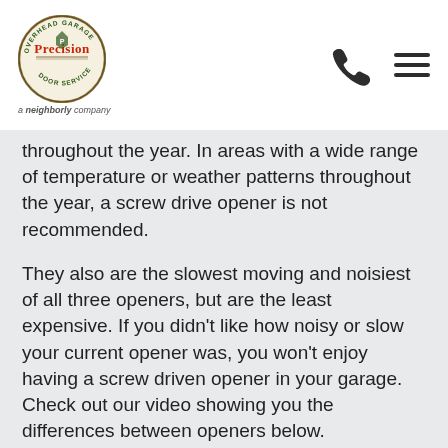Precision Door Service — a neighborly company
throughout the year. In areas with a wide range of temperature or weather patterns throughout the year, a screw drive opener is not recommended.
They also are the slowest moving and noisiest of all three openers, but are the least expensive. If you didn't like how noisy or slow your current opener was, you won't enjoy having a screw driven opener in your garage. Check out our video showing you the differences between openers below.
Belt Driven Openers
Belt drives are regarded in the garage door industry as the best type of opener. Not only